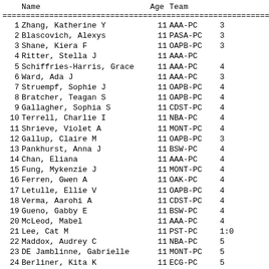|  | Name | Age | Team |  |
| --- | --- | --- | --- | --- |
| 1 | Zhang, Katherine Y | 11 | AAA-PC | 3 |
| 2 | Blascovich, Alexys | 11 | PASA-PC | 3 |
| 3 | Shane, Kiera F | 11 | OAPB-PC | 3 |
| 4 | Ritter, Stella J | 11 | AAA-PC |  |
| 5 | Schiffries-Harris, Grace | 11 | AAA-PC | 4 |
| 6 | Ward, Ada J | 11 | AAA-PC | 3 |
| 7 | Struempf, Sophie J | 11 | OAPB-PC | 4 |
| 8 | Bratcher, Teagan S | 11 | OAPB-PC | 4 |
| 9 | Gallagher, Sophia S | 11 | CDST-PC | 4 |
| 10 | Terrell, Charlie I | 11 | NBA-PC | 4 |
| 11 | Shrieve, Violet A | 11 | MONT-PC | 4 |
| 12 | Gallup, Claire M | 11 | OAPB-PC | 3 |
| 13 | Pankhurst, Anna J | 11 | BSW-PC | 4 |
| 14 | Chan, Eliana | 11 | AAA-PC | 4 |
| 15 | Fung, Mykenzie J | 11 | MONT-PC | 4 |
| 16 | Ferren, Gwen A | 11 | OAK-PC | 4 |
| 17 | Letulle, Ellie V | 11 | OAPB-PC | 4 |
| 18 | Verma, Aarohi A | 11 | CDST-PC | 4 |
| 19 | Gueno, Gabby E | 11 | BSW-PC | 4 |
| 20 | McLeod, Mabel | 11 | AAA-PC | 4 |
| 21 | Lee, Cat M | 11 | PST-PC | 1:0 |
| 22 | Maddox, Audrey C | 11 | NBA-PC | 5 |
| 23 | DE Jamblinne, Gabrielle | 11 | MONT-PC | 5 |
| 24 | Berliner, Kita K | 11 | ECG-PC | 5 |
| 25 | Kennedy, Bridget C | 11 | MONT-PC | 5 |
| 26 | Agarwal, Prisha | 11 | CDST-PC | 5 |
| 27 | Ward, Esther C | 11 | PST-PC | 5 |
| 28 | Durmas, Amiyah | 11 | UN-PC | 1:5 |